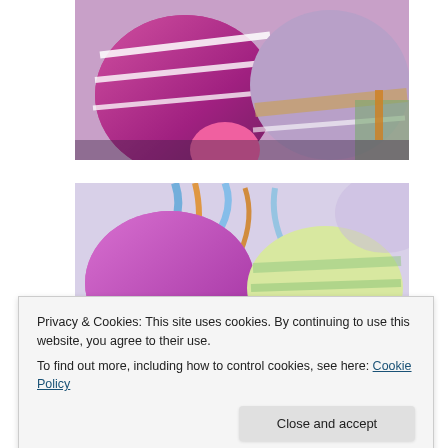[Figure (photo): Close-up photo of colorful Easter eggs with stripe patterns in pink, purple, and mauve/bronze tones, nestled in a basket with green filler.]
[Figure (photo): Photo of Easter eggs in a basket with colorful ribbon/shredded paper — a pink/purple egg on the left and a yellow-green pastel striped egg on the right.]
Privacy & Cookies: This site uses cookies. By continuing to use this website, you agree to their use.
To find out more, including how to control cookies, see here: Cookie Policy
Here's our eggs we dyed with onion skins, they came out